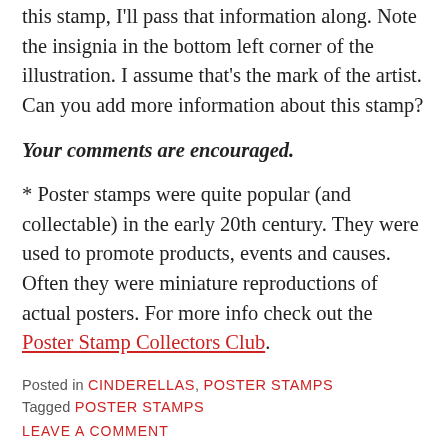this stamp, I'll pass that information along. Note the insignia in the bottom left corner of the illustration. I assume that's the mark of the artist. Can you add more information about this stamp?
Your comments are encouraged.
* Poster stamps were quite popular (and collectable) in the early 20th century. They were used to promote products, events and causes. Often they were miniature reproductions of actual posters. For more info check out the Poster Stamp Collectors Club.
Posted in CINDERELLAS, POSTER STAMPS
Tagged POSTER STAMPS
LEAVE A COMMENT